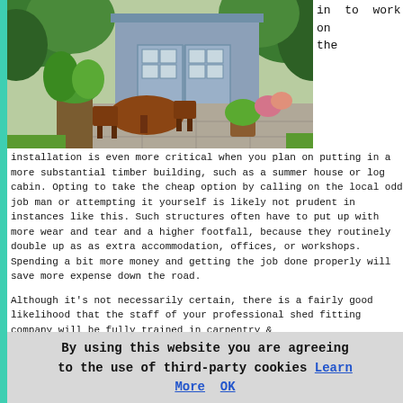[Figure (photo): Photograph of a garden with a light blue/grey shed in the background, wooden outdoor furniture (table and chairs) on a stone patio, surrounded by lush green plants and bushes.]
in to work on the
installation is even more critical when you plan on putting in a more substantial timber building, such as a summer house or log cabin. Opting to take the cheap option by calling on the local odd job man or attempting it yourself is likely not prudent in instances like this. Such structures often have to put up with more wear and tear and a higher footfall, because they routinely double up as as extra accommodation, offices, or workshops. Spending a bit more money and getting the job done properly will save more expense down the road.

Although it's not necessarily certain, there is a fairly good likelihood that the staff of your professional shed fitting company will be fully trained in carpentry &
By using this website you are agreeing to the use of third-party cookies Learn More OK